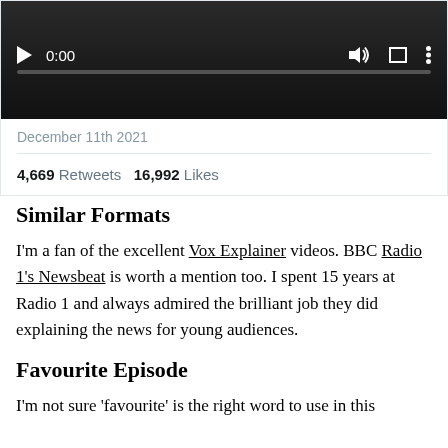[Figure (screenshot): Video player screenshot showing black/dark background with play button, timestamp 0:00, volume icon, fullscreen icon, and three-dot menu icon. A progress bar is visible at the bottom.]
December 11th 2021
4,669 Retweets  16,992 Likes
Similar Formats
I'm a fan of the excellent Vox Explainer videos. BBC Radio 1's Newsbeat is worth a mention too. I spent 15 years at Radio 1 and always admired the brilliant job they did explaining the news for young audiences.
Favourite Episode
I'm not sure 'favourite' is the right word to use in this